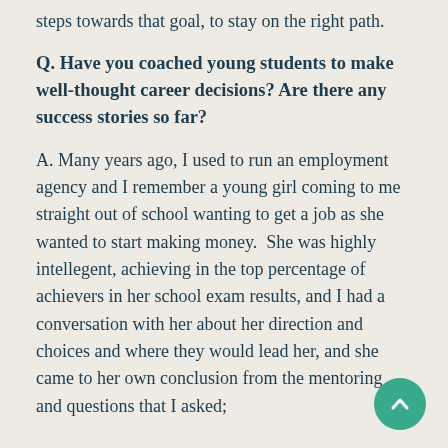steps towards that goal, to stay on the right path.
Q. Have you coached young students to make well-thought career decisions? Are there any success stories so far?
A. Many years ago, I used to run an employment agency and I remember a young girl coming to me straight out of school wanting to get a job as she wanted to start making money.  She was highly intellegent, achieving in the top percentage of achievers in her school exam results, and I had a conversation with her about her direction and choices and where they would lead her, and she came to her own conclusion from the mentoring and questions that I asked;